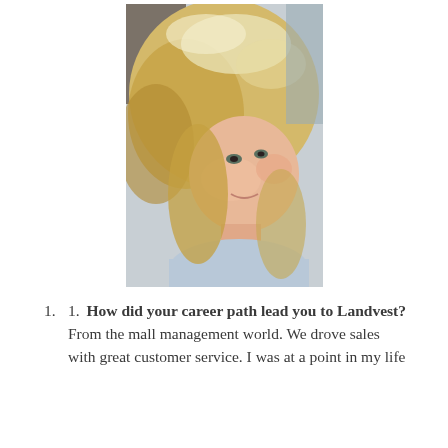[Figure (photo): A woman with long blonde hair taking a selfie, smiling slightly, wearing a light blue top. Selfie-style portrait photo.]
1.  1.  How did your career path lead you to Landvest? From the mall management world. We drove sales with great customer service. I was at a point in my life